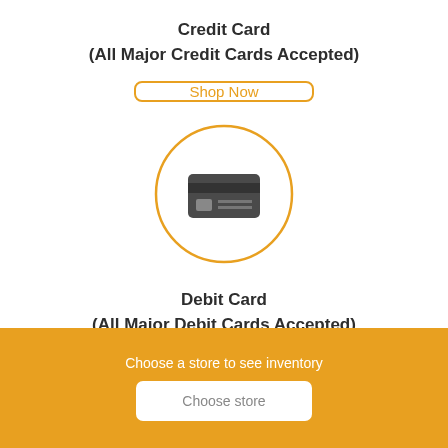Credit Card
(All Major Credit Cards Accepted)
Shop Now
[Figure (illustration): A credit card icon (dark grey card with chip and stripes) inside an orange circle outline]
Debit Card
(All Major Debit Cards Accepted)
Shop Now
Choose a store to see inventory
Choose store